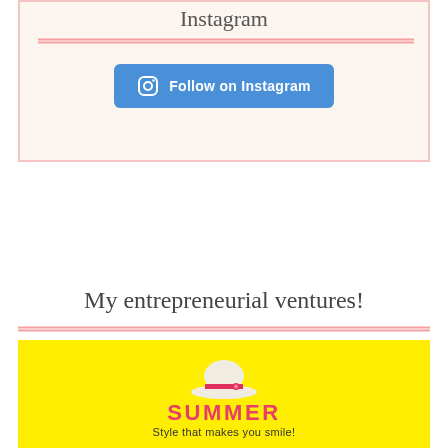[Figure (infographic): Instagram follow section with cream/pink background, script text at top (partially visible), double pink horizontal rules, and a blue 'Follow on Instagram' button with Instagram icon]
My entrepreneurial ventures!
[Figure (logo): Yellow background box with a white sun hat illustration with red band and flower, bold pink text 'SUMMER', and subtitle 'Style that makes you smile!']